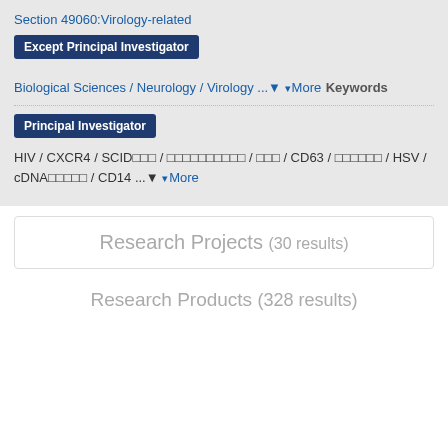Section 49060:Virology-related
Except Principal Investigator
Biological Sciences / Neurology / Virology ... More
Keywords
Principal Investigator
HIV / CXCR4 / SCID□□□ / □□□□□□□□□□ / □□□ / CD63 / □□□□□□ / HSV / cDNA□□□□□ / CD14 ... More
Research Projects (30 results)
Research Products (328 results)